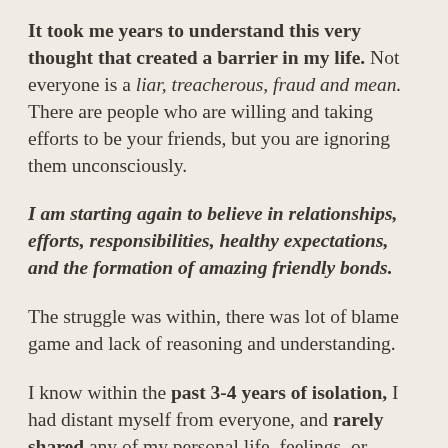It took me years to understand this very thought that created a barrier in my life. Not everyone is a liar, treacherous, fraud and mean. There are people who are willing and taking efforts to be your friends, but you are ignoring them unconsciously.
I am starting again to believe in relationships, efforts, responsibilities, healthy expectations, and the formation of amazing friendly bonds.
The struggle was within, there was lot of blame game and lack of reasoning and understanding.
I know within the past 3-4 years of isolation, I had distant myself from everyone, and rarely shared any of my personal life, feelings, or